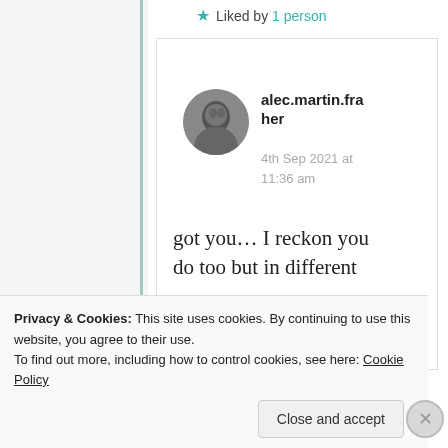★ Liked by 1 person
alec.martin.fraher
4th Sep 2021 at 11:36 am
got you… I reckon you do too but in different
Privacy & Cookies: This site uses cookies. By continuing to use this website, you agree to their use. To find out more, including how to control cookies, see here: Cookie Policy
Close and accept